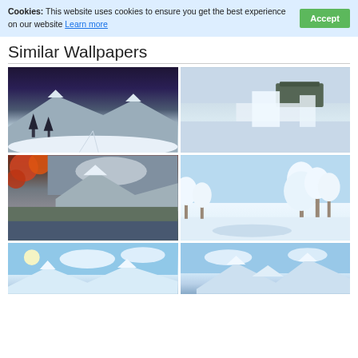Cookies: This website uses cookies to ensure you get the best experience on our website Learn more [Accept]
Similar Wallpapers
[Figure (photo): Winter snowy mountain landscape with ski tracks and snow-covered pine trees at night/dusk]
[Figure (photo): Waterfall scene with misty water and flat-topped mountain in background]
[Figure (photo): Autumn/winter mixed landscape with red leaves, snowy mountains and a lake]
[Figure (photo): Winter landscape with snow-covered white trees and a river]
[Figure (photo): Blue sky with snow-covered mountains and clouds]
[Figure (photo): Blue sky with snow-covered mountain peaks]